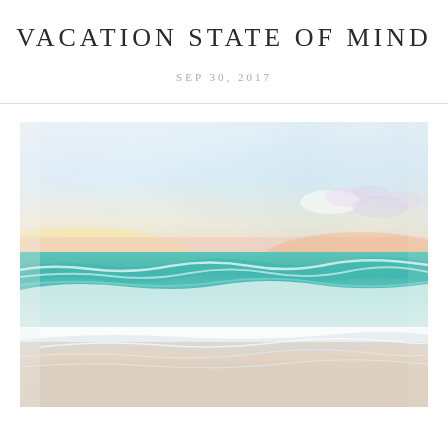VACATION STATE OF MIND
SEP 30, 2017
[Figure (photo): Beach scene at sunset/sunrise. Soft pastel sky with blues, pinks, oranges, and yellows. Turquoise-green ocean waves washing up onto white sandy beach. Light and airy photography style.]